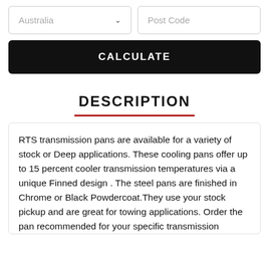[Figure (screenshot): Dropdown input field showing 'Australia' with chevron, and text input field showing 'Post Code' placeholder]
[Figure (screenshot): Black button with white bold text 'CALCULATE']
DESCRIPTION
RTS transmission pans are available for a variety of stock or Deep applications. These cooling pans offer up to 15 percent cooler transmission temperatures via a unique Finned design . The steel pans are finished in Chrome or Black Powdercoat.They use your stock pickup and are great for towing applications. Order the pan recommended for your specific transmission